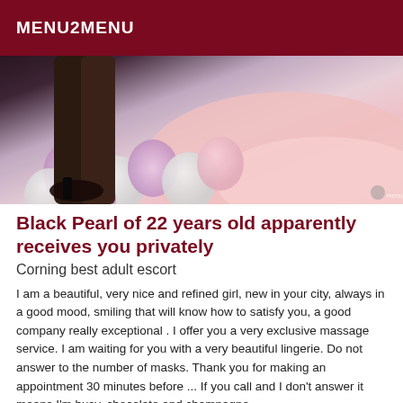MENU2MENU
[Figure (photo): Photo showing legs with high heels surrounded by pink, white, and lavender balloons on a silky pink fabric background]
Black Pearl of 22 years old apparently receives you privately
Corning best adult escort
I am a beautiful, very nice and refined girl, new in your city, always in a good mood, smiling that will know how to satisfy you, a good company really exceptional . I offer you a very exclusive massage service. I am waiting for you with a very beautiful lingerie. Do not answer to the number of masks. Thank you for making an appointment 30 minutes before ... If you call and I don't answer it means I'm busy, chocolate and champagne